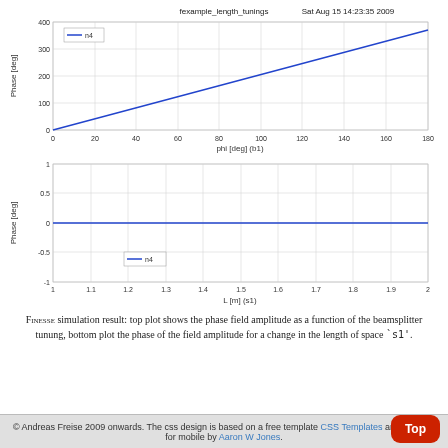[Figure (line-chart): fexample_length_tunings    Sat Aug 15 14:23:35 2009]
[Figure (line-chart): ]
FINESSE simulation result: top plot shows the phase field amplitude as a function of the beamsplitter tunung, bottom plot the phase of the field amplitude for a change in the length of space `s1'.
© Andreas Freise 2009 onwards. The css design is based on a free template CSS Templates and updated for mobile by Aaron W Jones.